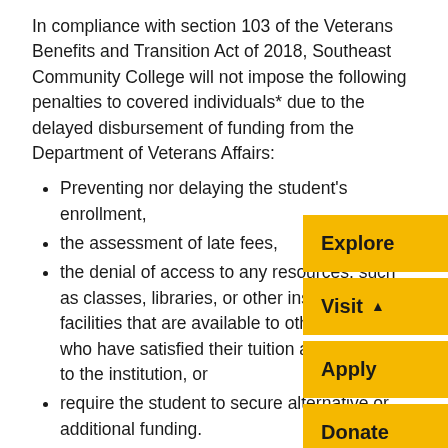In compliance with section 103 of the Veterans Benefits and Transition Act of 2018, Southeast Community College will not impose the following penalties to covered individuals* due to the delayed disbursement of funding from the Department of Veterans Affairs:
Preventing nor delaying the student's enrollment,
the assessment of late fees,
the denial of access to any resources, such as classes, libraries, or other institutional facilities that are available to other students who have satisfied their tuition and fees bills to the institution, or
require the student to secure alternative or additional funding.
To qualify for this provision, such students are required to:
Produce a Certificate of Eligibility for entitlement